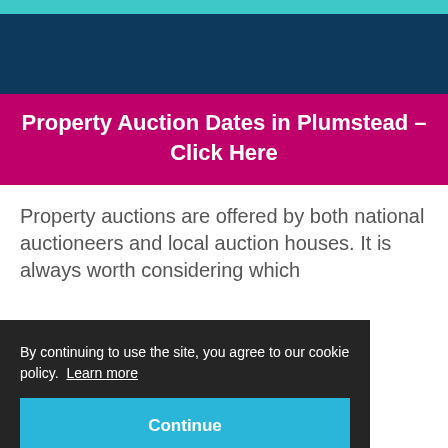Property Auction Dates in Plumstead – Click Here
Property auctions are offered by both national auctioneers and local auction houses. It is always worth considering which
By continuing to use the site, you agree to our cookie policy. Learn more
Continue
Nearby London areas for property auctions